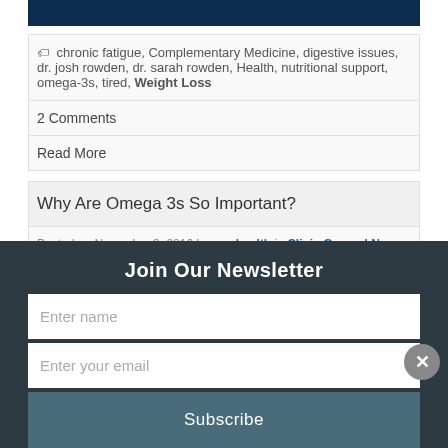[Figure (other): Dark blue image placeholder at top of article card]
chronic fatigue, Complementary Medicine, digestive issues, dr. josh rowden, dr. sarah rowden, Health, nutritional support, omega-3s, tired, Weight Loss
2 Comments
Read More
Why Are Omega 3s So Important?
Posted on November 2, 2016 by nwahealth in Clinic General News, Health and Wellness
Join Our Newsletter
Enter name
Enter your email
Subscribe